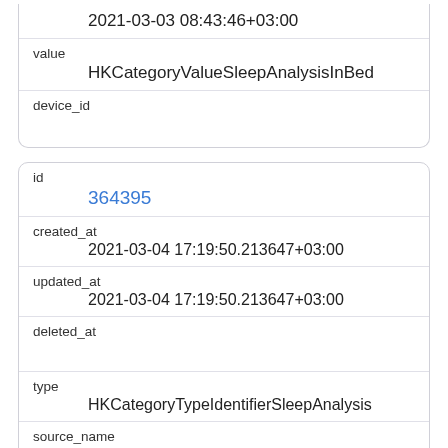| (date-time) | 2021-03-03 08:43:46+03:00 |
| value | HKCategoryValueSleepAnalysisInBed |
| device_id |  |
| id | 364395 |
| created_at | 2021-03-04 17:19:50.213647+03:00 |
| updated_at | 2021-03-04 17:19:50.213647+03:00 |
| deleted_at |  |
| type | HKCategoryTypeIdentifierSleepAnalysis |
| source_name | iPhone (Vsevolod) |
| source_version | 14.4 |